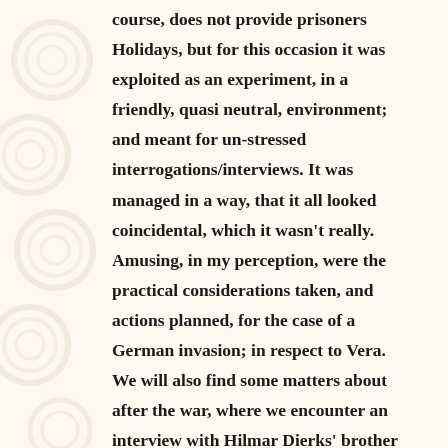course, does not provide prisoners Holidays, but for this occasion it was exploited as an experiment, in a friendly, quasi neutral, environment; and meant for un-stressed interrogations/interviews. It was managed in a way, that it all looked coincidental, which it wasn't really. Amusing, in my perception, were the practical considerations taken, and actions planned, for the case of a German invasion; in respect to Vera. We will also find some matters about after the war, where we encounter an interview with Hilmar Dierks' brother Gerhard.  Also, an interview with a Sir...